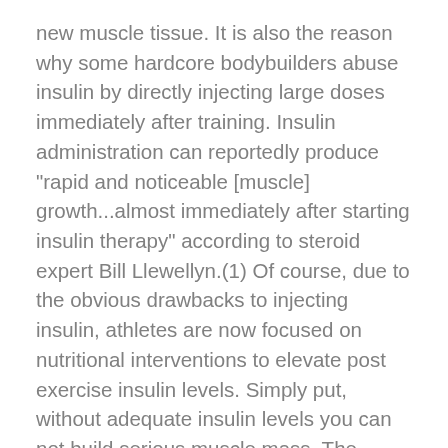new muscle tissue. It is also the reason why some hardcore bodybuilders abuse insulin by directly injecting large doses immediately after training. Insulin administration can reportedly produce "rapid and noticeable [muscle] growth...almost immediately after starting insulin therapy" according to steroid expert Bill Llewellyn.(1) Of course, due to the obvious drawbacks to injecting insulin, athletes are now focused on nutritional interventions to elevate post exercise insulin levels. Simply put, without adequate insulin levels you can not build serious muscle mass. The MyoZene formula is actually the first I've seen that contains an ultra-potent matrix of insulinotropic factors engineered to unleash a large surge of anabolic insulin. These two technologies work synergistically to create the ideal environment for promoting extreme muscle growth. In short, the introduction of MyoZene marks the arrival of an entirely new science of ultra-precision-targeted